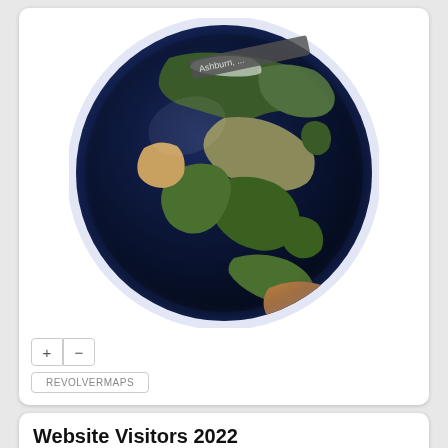[Figure (map): 3D interactive globe (RevolverMaps) showing Earth from space centered on Asia-Pacific region, with a tooltip ribbon near the top reading 'Ashburn, ...' and zoom (+/-) controls and a REVOLVERMAPS button below]
Website Visitors 2022
23,999